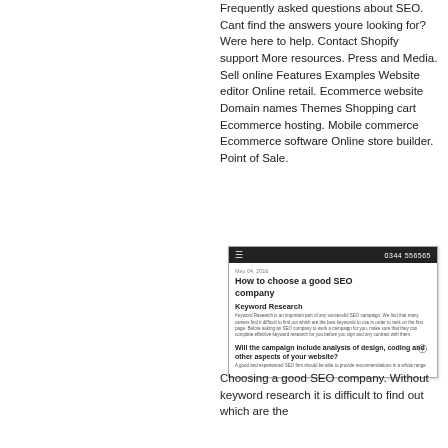Frequently asked questions about SEO. Cant find the answers youre looking for? Were here to help. Contact Shopify support More resources. Press and Media. Sell online Features Examples Website editor Online retail. Ecommerce website Domain names Themes Shopping cart Ecommerce hosting. Mobile commerce Ecommerce software Online store builder. Point of Sale.
[Figure (screenshot): Screenshot of a webpage titled 'How to choose a good SEO company' with sections including Keyword Research and a question about campaign analysis of design, coding and other aspects of your website.]
Choosing a good SEO company. Without keyword research it is difficult to find out which are the